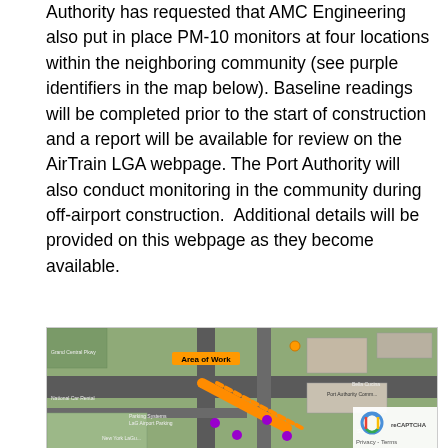Authority has requested that AMC Engineering also put in place PM-10 monitors at four locations within the neighboring community (see purple identifiers in the map below). Baseline readings will be completed prior to the start of construction and a report will be available for review on the AirTrain LGA webpage. The Port Authority will also conduct monitoring in the community during off-airport construction.  Additional details will be provided on this webpage as they become available.
[Figure (map): Aerial/satellite map of the area near LaGuardia Airport showing the Area of Work marked with an orange label and orange diagonal lines, purple location markers for PM-10 monitors in the neighboring community, and a Privacy/Terms box with reCAPTCHA icon in the bottom right corner.]